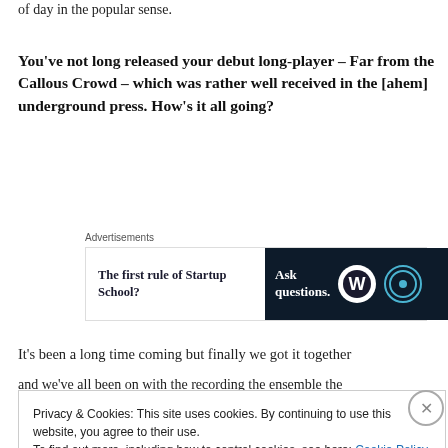of day in the popular sense.
You've not long released your debut long-player – Far from the Callous Crowd – which was rather well received in the [ahem] underground press. How's it all going?
[Figure (other): Advertisement banner: left side shows 'The first rule of Startup School?' text in dark serif, right side shows dark navy box with 'Ask questions.' text and WordPress and Startup School logos]
It's been a long time coming but finally we got it together
Privacy & Cookies: This site uses cookies. By continuing to use this website, you agree to their use.
To find out more, including how to control cookies, see here: Cookie Policy
Close and accept